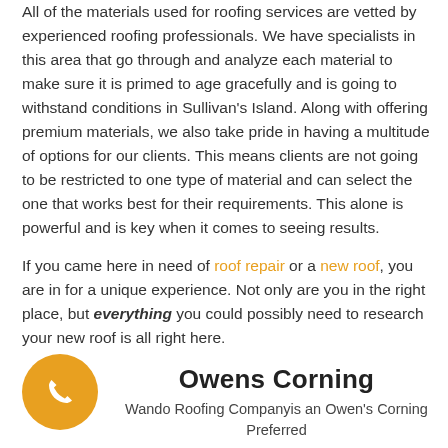All of the materials used for roofing services are vetted by experienced roofing professionals. We have specialists in this area that go through and analyze each material to make sure it is primed to age gracefully and is going to withstand conditions in Sullivan's Island. Along with offering premium materials, we also take pride in having a multitude of options for our clients. This means clients are not going to be restricted to one type of material and can select the one that works best for their requirements. This alone is powerful and is key when it comes to seeing results.
If you came here in need of roof repair or a new roof, you are in for a unique experience. Not only are you in the right place, but everything you could possibly need to research your new roof is all right here.
[Figure (logo): Orange circle with white phone handset icon]
Owens Corning
Wando Roofing Companyis an Owen's Corning Preferred